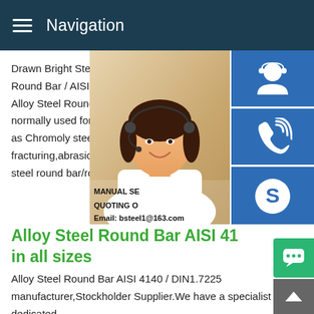Navigation
Drawn Bright Steel Bar,China Factory Scn Round Bar / AISI 4140 Forged Steel Roun Alloy Steel Round Bar 4140 OnlineAlloy S normally used for heavy-duty industrial ap as Chromoly steel,4140 is known for stren fracturing,abrasion,and impact in high stre steel round bar/rod stock is available in
[Figure (photo): Woman with headset smiling, customer service representative, with blue icon buttons for chat, phone, and Skype on the right side. Text overlay: MANUAL SE, QUOTING O, Email: bsteel1@163.com]
Alloy Steel Round Bar AISI 41 in all sizes
Alloy Steel Round Bar AISI 4140 / DIN1.7225 manufacturer,Stockholder Supplier.We have a specialist dedicated Alloy Steel Round Bar AISI 4140 / DIN1.7225 team and can su the following stainless steel grades in bar and round bar form the following sizes in stock:.Alloy Steel Round Bar AISI 4140 / DIN1.7225 Production according to national and international